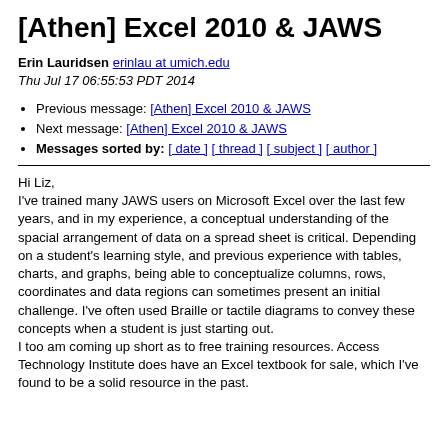[Athen] Excel 2010 & JAWS
Erin Lauridsen erinlau at umich.edu
Thu Jul 17 06:55:53 PDT 2014
Previous message: [Athen] Excel 2010 & JAWS
Next message: [Athen] Excel 2010 & JAWS
Messages sorted by: [ date ] [ thread ] [ subject ] [ author ]
Hi Liz,
I've trained many JAWS users on Microsoft Excel over the last few years, and in my experience, a conceptual understanding of the spacial arrangement of data on a spread sheet is critical. Depending on a student's learning style, and previous experience with tables, charts, and graphs, being able to conceptualize columns, rows, coordinates and data regions can sometimes present an initial challenge. I've often used Braille or tactile diagrams to convey these concepts when a student is just starting out.
I too am coming up short as to free training resources. Access Technology Institute does have an Excel textbook for sale, which I've found to be a solid resource in the past.